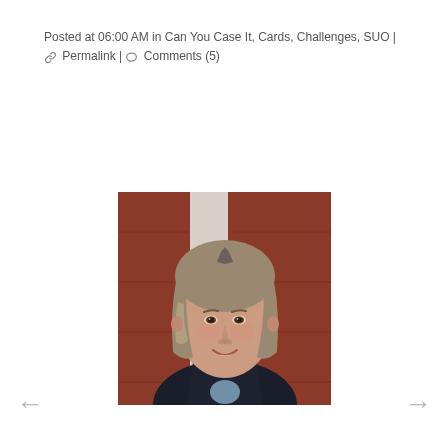Posted at 06:00 AM in Can You Case It, Cards, Challenges, SUO | 🔗 Permalink | 💬 Comments (5)
[Figure (photo): Portrait photo of a middle-aged woman with shoulder-length blonde/gray hair, smiling, wearing a dark zip-up jacket, standing in front of a red wooden barn wall with a white door hinge visible.]